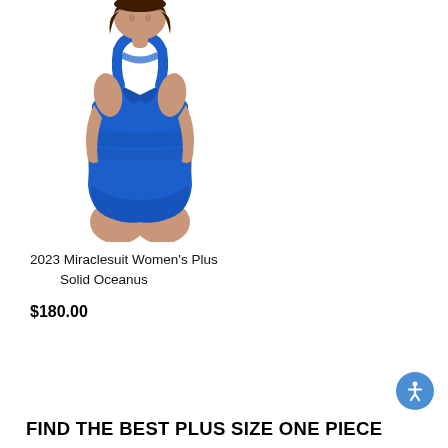[Figure (photo): A woman wearing a bright royal blue one-piece swimsuit with V-neck crossover front and racerback straps, shown from waist up, plus-size model on white background]
2023 Miraclesuit Women's Plus Solid Oceanus
$180.00
FIND THE BEST PLUS SIZE ONE PIECE